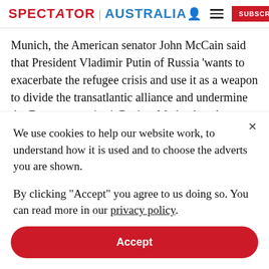SPECTATOR | AUSTRALIA
Munich, the American senator John McCain said that President Vladimir Putin of Russia 'wants to exacerbate the refugee crisis and use it as a weapon to divide the transatlantic alliance and undermine the European project'. Dmitry Medvedev, the Russian Prime Minister,
We use cookies to help our website work, to understand how it is used and to choose the adverts you are shown.
By clicking "Accept" you agree to us doing so. You can read more in our privacy policy.
Accept